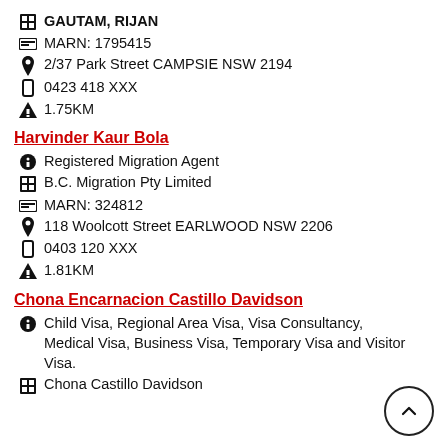GAUTAM, RIJAN
MARN: 1795415
2/37 Park Street CAMPSIE NSW 2194
0423 418 XXX
1.75KM
Harvinder Kaur Bola
Registered Migration Agent
B.C. Migration Pty Limited
MARN: 324812
118 Woolcott Street EARLWOOD NSW 2206
0403 120 XXX
1.81KM
Chona Encarnacion Castillo Davidson
Child Visa, Regional Area Visa, Visa Consultancy, Medical Visa, Business Visa, Temporary Visa and Visitor Visa.
Chona Castillo Davidson